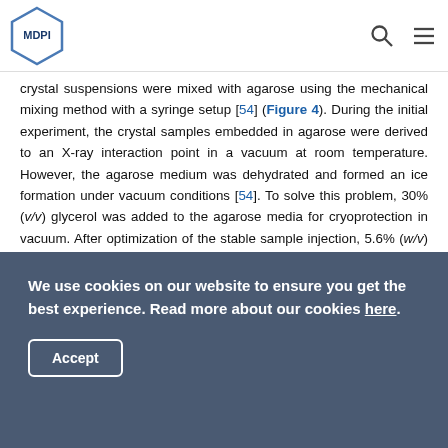MDPI
crystal suspensions were mixed with agarose using the mechanical mixing method with a syringe setup [54] (Figure 4). During the initial experiment, the crystal samples embedded in agarose were derived to an X-ray interaction point in a vacuum at room temperature. However, the agarose medium was dehydrated and formed an ice formation under vacuum conditions [54]. To solve this problem, 30% (v/v) glycerol was added to the agarose media for cryoprotection in vacuum. After optimization of the stable sample injection, 5.6% (w/v) agarose dissolved in 30% (v/v) glycerol was selected, which formed a stable and continuous stream without ice-crystal diffraction. The agarose delivery medium can be used in an expansive
We use cookies on our website to ensure you get the best experience. Read more about our cookies here. Accept